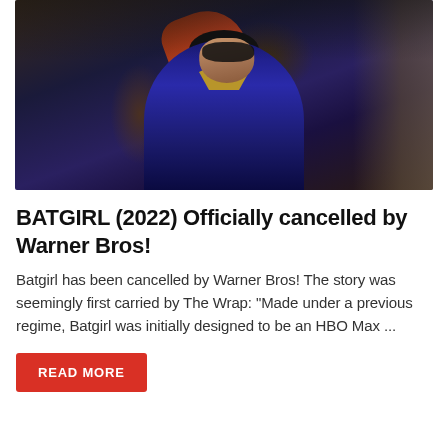[Figure (photo): Batgirl character in blue superhero costume and mask, with long red/auburn hair, standing in a dark scene.]
BATGIRL (2022) Officially cancelled by Warner Bros!
Batgirl has been cancelled by Warner Bros! The story was seemingly first carried by The Wrap: "Made under a previous regime, Batgirl was initially designed to be an HBO Max ...
READ MORE